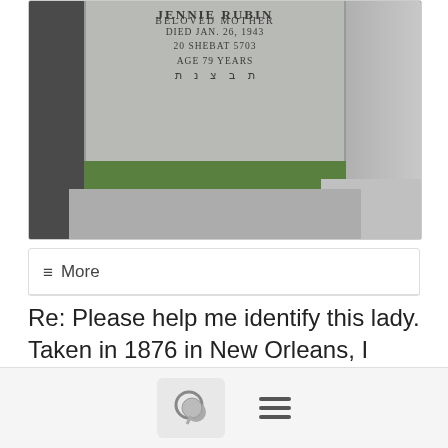[Figure (photo): Photograph of a gray granite gravestone for Jennie Rubin, inscribed: 'JENNIE RUBIN / DIED JAN. 26, 1943 / 20 SHEBAT 5703 / AGE 79 YEARS / [Hebrew text] / BELOVED MOTHER'. Two other gravestones are partially visible on either side, with green grass in the background.]
≡ More
Re: Please help me identify this lady. Taken in 1876 in New Orleans, I cannot understand her